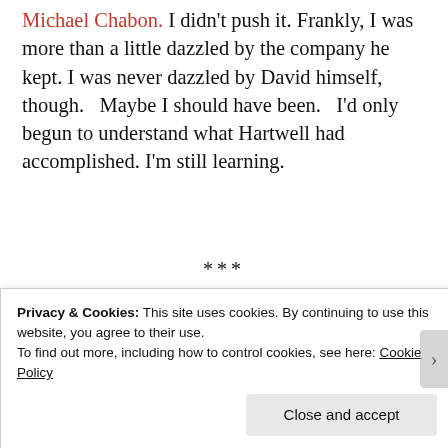Michael Chabon. I didn't push it. Frankly, I was more than a little dazzled by the company he kept. I was never dazzled by David himself, though.   Maybe I should have been.   I'd only begun to understand what Hartwell had accomplished. I'm still learning.
***
[Figure (photo): Partial view of a book cover with colored stripes]
Growing up in the
Privacy & Cookies: This site uses cookies. By continuing to use this website, you agree to their use.
To find out more, including how to control cookies, see here: Cookie Policy
Close and accept